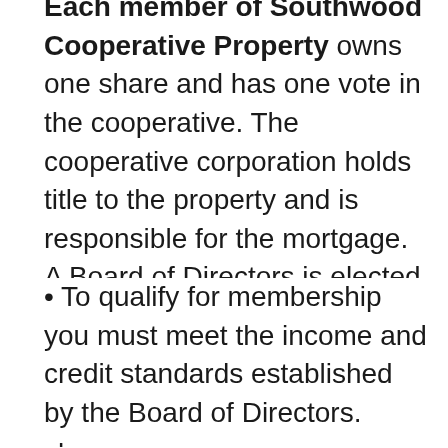Each member of Southwood Cooperative Property owns one share and has one vote in the cooperative. The cooperative corporation holds title to the property and is responsible for the mortgage. A Board of Directors is elected by the members. The directors set policies, establish rules and determine how money is spent.
• To qualify for membership you must meet the income and credit standards established by the Board of Directors.
By continuing to use this website, you consent to the use of cookies in accordance with our Cookie Policy.
t
housing
r you to
[Figure (other): Blue rectangular button (cookie consent button)]
bers